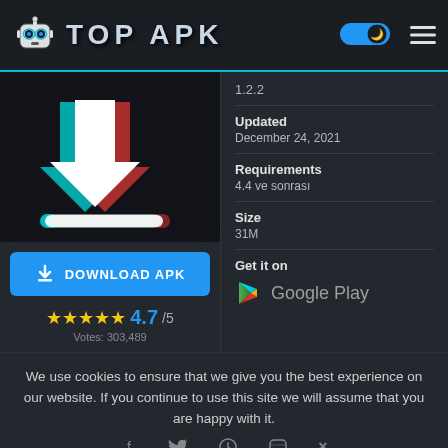TOP APK
1.2.2
Updated
December 24, 2021
Requirements
4.4 ve sonrası
Size
31M
Get it on
Google Play
[Figure (illustration): App icon with download arrow on dark background, TikTok-style colors]
DOWNLOAD APK
4.7/5
Votes: 303,489
We use cookies to ensure that we give you the best experience on our website. If you continue to use this site we will assume that you are happy with it.
Ok